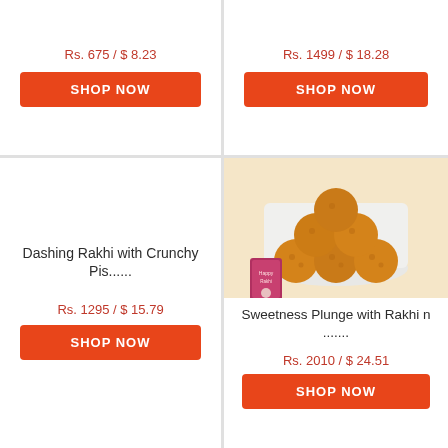Rs. 675 / $ 8.23
SHOP NOW
Rs. 1499 / $ 18.28
SHOP NOW
Dashing Rakhi with Crunchy Pis......
Rs. 1295 / $ 15.79
SHOP NOW
[Figure (photo): Photo of ladoo sweets stacked on a white plate with a rakhi bracelet and greeting card]
Sweetness Plunge with Rakhi n .......
Rs. 2010 / $ 24.51
SHOP NOW